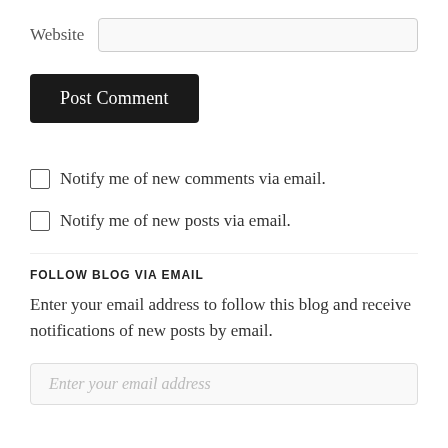Website
Post Comment
Notify me of new comments via email.
Notify me of new posts via email.
FOLLOW BLOG VIA EMAIL
Enter your email address to follow this blog and receive notifications of new posts by email.
Enter your email address